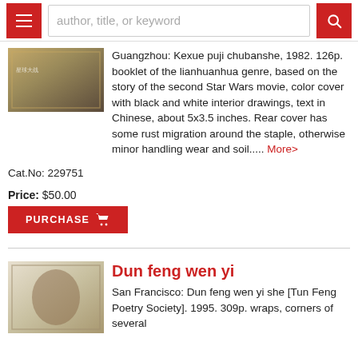author, title, or keyword [search bar with menu and search buttons]
Guangzhou: Kexue puji chubanshe, 1982. 126p. booklet of the lianhuanhua genre, based on the story of the second Star Wars movie, color cover with black and white interior drawings, text in Chinese, about 5x3.5 inches. Rear cover has some rust migration around the staple, otherwise minor handling wear and soil..... More>
Cat.No: 229751
Price: $50.00
PURCHASE
Dun feng wen yi
San Francisco: Dun feng wen yi she [Tun Feng Poetry Society]. 1995. 309p. wraps, corners of several